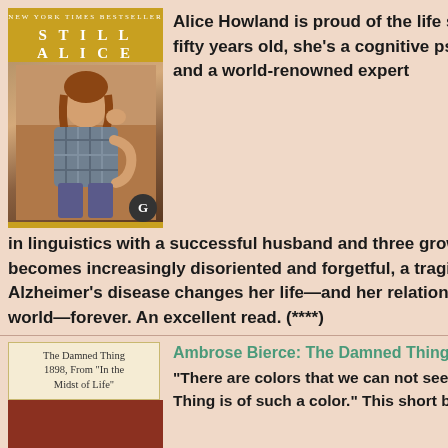[Figure (photo): Book cover of 'Still Alice' showing a woman sitting pensively, with golden yellow background and title text]
Alice Howland is proud of the life she worked so hard to build. At fifty years old, she's a cognitive psychology professor at Harvard and a world-renowned expert in linguistics with a successful husband and three grown children. When she becomes increasingly disoriented and forgetful, a tragic diagnosis of early-onset Alzheimer's disease changes her life—and her relationship with her family and the world—forever. An excellent read. (****)
[Figure (photo): Book cover of 'The Damned Thing' by Ambrose Bierce, 1898, From 'In the Midst of Life', showing a dark red/burnt sienna cover]
Ambrose Bierce: The Damned Thing
"There are colors that we can not see. And God help me, The Damned Thing is of such a color." This short but very scary